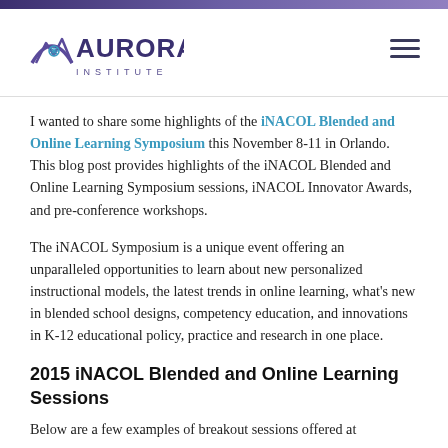[Figure (logo): Aurora Institute logo with mountain/arc icon and text 'AURORA INSTITUTE']
I wanted to share some highlights of the iNACOL Blended and Online Learning Symposium this November 8-11 in Orlando. This blog post provides highlights of the iNACOL Blended and Online Learning Symposium sessions, iNACOL Innovator Awards, and pre-conference workshops.
The iNACOL Symposium is a unique event offering an unparalleled opportunities to learn about new personalized instructional models, the latest trends in online learning, what's new in blended school designs, competency education, and innovations in K-12 educational policy, practice and research in one place.
2015 iNACOL Blended and Online Learning Sessions
Below are a few examples of breakout sessions offered at